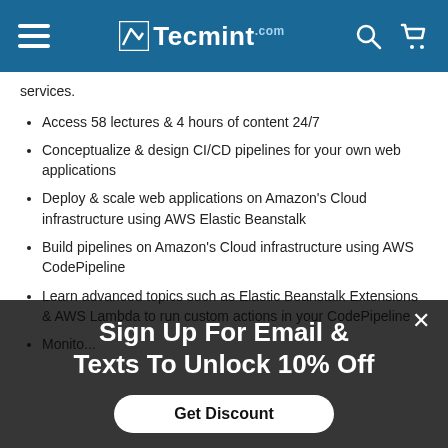Tecmint
services.
Access 58 lectures & 4 hours of content 24/7
Conceptualize & design CI/CD pipelines for your own web applications
Deploy & scale web applications on Amazon's Cloud infrastructure using AWS Elastic Beanstalk
Build pipelines on Amazon's Cloud infrastructure using AWS CodePipeline
Learn advanced topics such as Elastic Beanstalk Extensions & AWS Lambda to run custom actions in your CodePipeline
Monitor...
Sign Up For Email & Texts To Unlock 10% Off
Get Discount